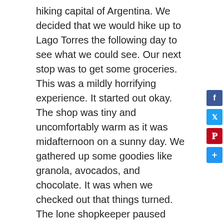hiking capital of Argentina. We decided that we would hike up to Lago Torres the following day to see what we could see. Our next stop was to get some groceries. This was a mildly horrifying experience. It started out okay. The shop was tiny and uncomfortably warm as it was midafternoon on a sunny day. We gathered up some goodies like granola, avocados, and chocolate. It was when we checked out that things turned. The lone shopkeeper paused from his labors slicing bacon on a small deli slicing machine to ring us up. He wore a glove on the hand that was pushing the bacon around and was good about not touching money with that hand. But he did not remove the glove before handling all of our purchases. Everything was glossy with raw bacon fat by the time he gave us our tally. I'm not sure if it was in my head or real but I was unable to escape that smoky ham aroma for at least three days.
We came on the street from the hotel...